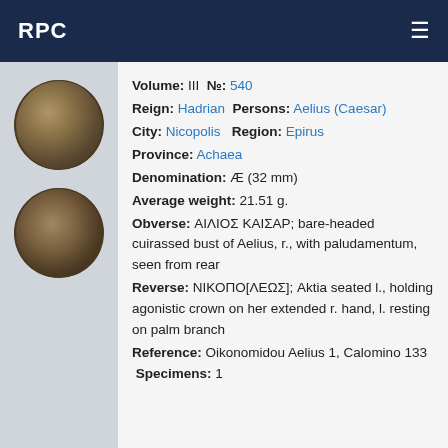RPC
Volume: III №: 540
Reign: Hadrian Persons: Aelius (Caesar)
City: Nicopolis Region: Epirus
Province: Achaea
Denomination: Æ (32 mm)
Average weight: 21.51 g.
Obverse: ΑΙΛΙΟΣ ΚΑΙΣΑΡ; bare-headed cuirassed bust of Aelius, r., with paludamentum, seen from rear
Reverse: ΝΙΚΟΠΟ[ΛΕΩΣ]; Aktia seated l., holding agonistic crown on her extended r. hand, l. resting on palm branch
Reference: Oikonomidou Aelius 1, Calomino 133 Specimens: 1
[Figure (photo): Obverse of ancient coin showing cuirassed bust of Aelius]
[Figure (photo): Reverse of ancient coin showing Aktia seated figure]